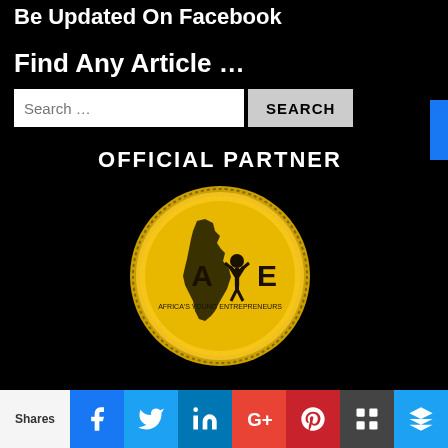Be Updated On Facebook
Find Any Article …
[Figure (screenshot): Search bar with placeholder 'Search …' and a SEARCH button]
OFFICIAL PARTNER
[Figure (logo): AYE - Africa's Young Entrepreneurs official partner gold seal/badge with Africa map silhouette]
Shares | Facebook | Twitter | LinkedIn | Google+ | Pinterest | Buffer | Other